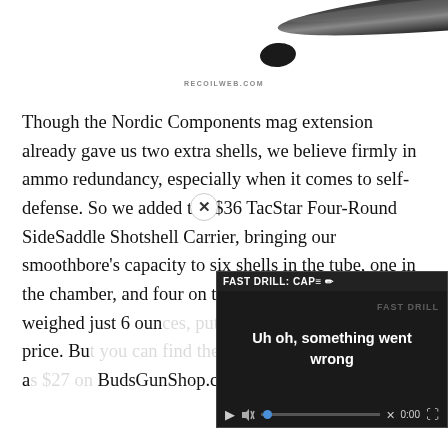[Figure (photo): Partial view of a dark gun barrel, shown at an angle against a white background, partially cropped at the top of the page.]
RECOILWEB.COM
Though the Nordic Components mag extension already gave us two extra shells, we believe firmly in ammo redundancy, especially when it comes to self-defense. So we added the $36 TacStar Four-Round SideSaddle Shotshell Carrier, bringing our smoothbore's capacity to six shells in the tube, one in the chamber, and four on the gun. The side saddle weighed just 6 oun[ces, putting us at] a $501 total retail price. Bu[t you can find the] TacStar caddy for as low a[s $27 on] BudsGunShop.com. So th[e…]
[Figure (screenshot): Video player overlay showing an error state: 'FAST DRILL: CAP' title, error message 'Uh oh, something went wrong', with video controls including mute button, progress bar with X mark, timestamp 0:00, and expand button. A close X button appears at top right of the overlay.]